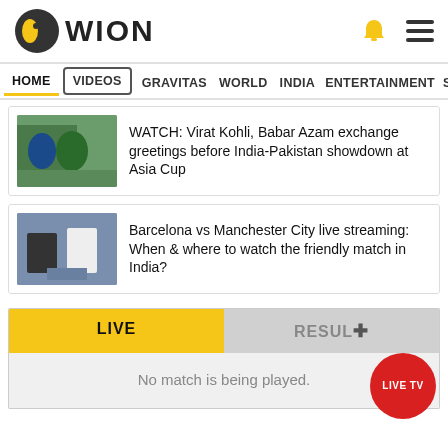[Figure (logo): WION news logo with circular icon]
HOME  VIDEOS  GRAVITAS  WORLD  INDIA  ENTERTAINMENT  SPORT
WATCH: Virat Kohli, Babar Azam exchange greetings before India-Pakistan showdown at Asia Cup
Barcelona vs Manchester City live streaming: When & where to watch the friendly match in India?
LIVE   RESUL+
No match is being played.